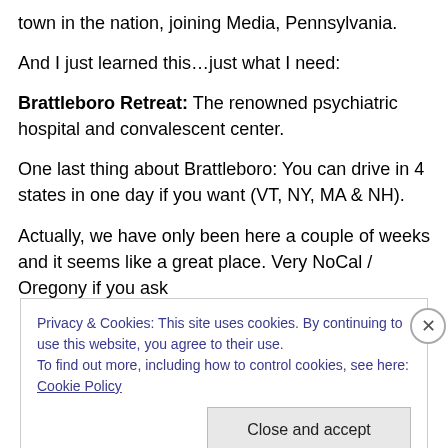town in the nation, joining Media, Pennsylvania.
And I just learned this…just what I need:
Brattleboro Retreat: The renowned psychiatric hospital and convalescent center.
One last thing about Brattleboro: You can drive in 4 states in one day if you want (VT, NY, MA & NH).
Actually, we have only been here a couple of weeks and it seems like a great place. Very NoCal / Oregony if you ask
Privacy & Cookies: This site uses cookies. By continuing to use this website, you agree to their use.
To find out more, including how to control cookies, see here: Cookie Policy
Close and accept